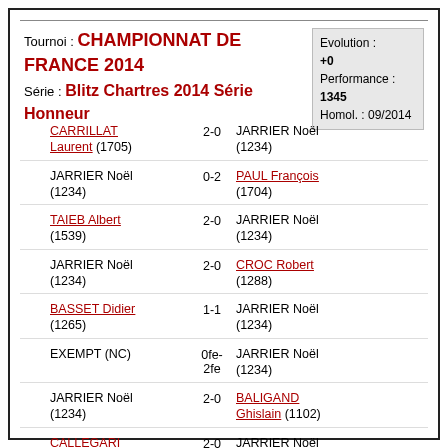Tournoi : CHAMPIONNAT DE FRANCE 2014
Série : Blitz Chartres 2014 Série Honneur
Evolution : +0
Performance : 1345
Homol. : 09/2014
| Joueur 1 | Score | Joueur 2 |
| --- | --- | --- |
| CARRILLAT Laurent (1705) | 2-0 | JARRIER Noël (1234) |
| JARRIER Noël (1234) | 0-2 | PAUL François (1704) |
| TAIEB Albert (1539) | 2-0 | JARRIER Noël (1234) |
| JARRIER Noël (1234) | 2-0 | CROC Robert (1288) |
| BASSET Didier (1265) | 1-1 | JARRIER Noël (1234) |
| EXEMPT (NC) | 0fe-2fe | JARRIER Noël (1234) |
| JARRIER Noël (1234) | 2-0 | BALIGAND Ghislain (1102) |
| CALLEGARI Mickael (1936) | 2-0 | JARRIER Noël (1234) |
| JARRIER Noël (1234) | 0-2 | BOURGOIN Bernard (1721) |